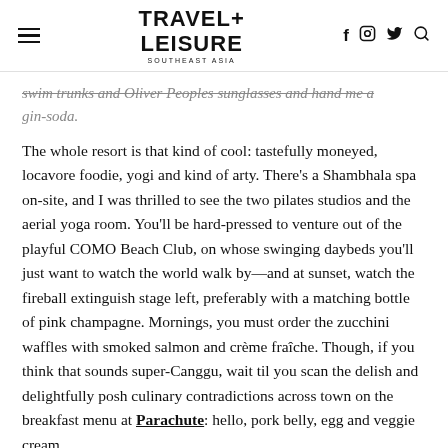TRAVEL+ LEISURE
swim trunks and Oliver Peoples sunglasses and hand me a gin-soda.
The whole resort is that kind of cool: tastefully moneyed, locavore foodie, yogi and kind of arty. There's a Shambhala spa on-site, and I was thrilled to see the two pilates studios and the aerial yoga room. You'll be hard-pressed to venture out of the playful COMO Beach Club, on whose swinging daybeds you'll just want to watch the world walk by—and at sunset, watch the fireball extinguish stage left, preferably with a matching bottle of pink champagne. Mornings, you must order the zucchini waffles with smoked salmon and crème fraîche. Though, if you think that sounds super-Canggu, wait til you scan the delish and delightfully posh culinary contradictions across town on the breakfast menu at Parachute: hello, pork belly, egg and veggie cream